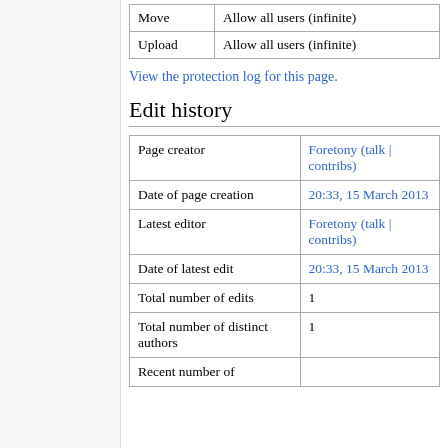| Action | Status |
| --- | --- |
| Move | Allow all users (infinite) |
| Upload | Allow all users (infinite) |
View the protection log for this page.
Edit history
| Field | Value |
| --- | --- |
| Page creator | Foretony (talk | contribs) |
| Date of page creation | 20:33, 15 March 2013 |
| Latest editor | Foretony (talk | contribs) |
| Date of latest edit | 20:33, 15 March 2013 |
| Total number of edits | 1 |
| Total number of distinct authors | 1 |
| Recent number of |  |